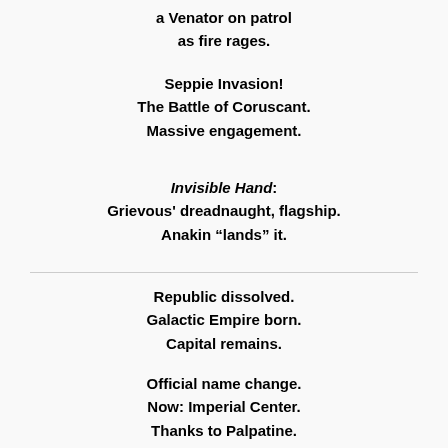a Venator on patrol
as fire rages.
Seppie Invasion!
The Battle of Coruscant.
Massive engagement.
Invisible Hand:
Grievous' dreadnaught, flagship.
Anakin “lands” it.
Republic dissolved.
Galactic Empire born.
Capital remains.
Official name change.
Now: Imperial Center.
Thanks to Palpatine.